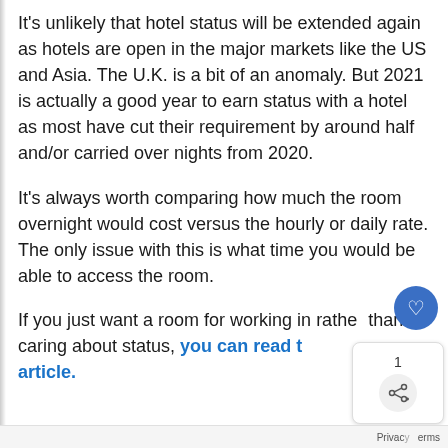It's unlikely that hotel status will be extended again as hotels are open in the major markets like the US and Asia. The U.K. is a bit of an anomaly. But 2021 is actually a good year to earn status with a hotel as most have cut their requirement by around half and/or carried over nights from 2020.
It's always worth comparing how much the room overnight would cost versus the hourly or daily rate. The only issue with this is what time you would be able to access the room.
If you just want a room for working in rather than caring about status, you can read t article.